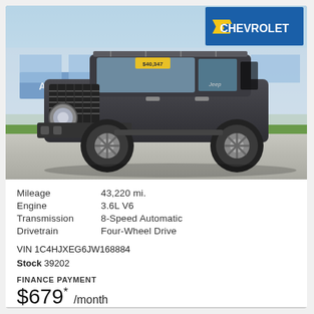[Figure (photo): Dark gray Jeep Wrangler Unlimited parked in front of Art Moehn Chevrolet dealership on a bright day. The dealership sign with the Chevrolet bowtie logo is visible in the background.]
| Mileage | 43,220 mi. |
| Engine | 3.6L V6 |
| Transmission | 8-Speed Automatic |
| Drivetrain | Four-Wheel Drive |
VIN 1C4HJXEG6JW168884
Stock 39202
FINANCE PAYMENT
$679* /month